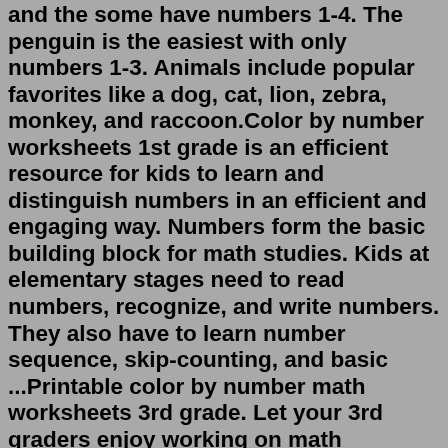and the some have numbers 1-4. The penguin is the easiest with only numbers 1-3. Animals include popular favorites like a dog, cat, lion, zebra, monkey, and raccoon.Color by number worksheets 1st grade is an efficient resource for kids to learn and distinguish numbers in an efficient and engaging way. Numbers form the basic building block for math studies. Kids at elementary stages need to read numbers, recognize, and write numbers. They also have to learn number sequence, skip-counting, and basic ...Printable color by number math worksheets 3rd grade. Let your 3rd graders enjoy working on math problems with these coloring sheets. Color by number worksheets. This color by number worksheet is a picture of a butterfly that uses 5 different colors. 3rd Grade Color By Number Fractions - Displaying top 8 worksheets found for this concept.Fall Color by Number Pages. Here is a brand new set of fall color by number pages perfect for 3 to 5 year olds. Not only do these worksheets help with color and number recognition, they help littles increase their concentration and